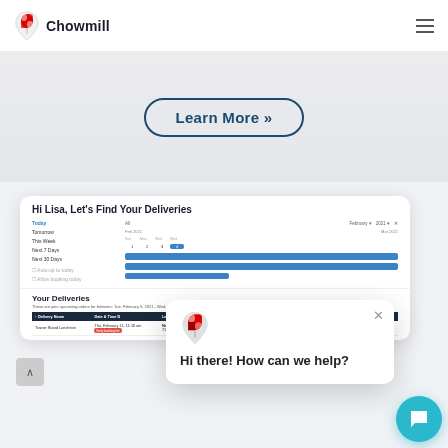Chowmill
Learn More »
[Figure (screenshot): Chowmill web app screenshot showing 'Hi Lisa, Let's Find Your Deliveries' dashboard with date filters and a calendar picker]
Hi there! How can we help?
Your Deliveries
These are your upcoming orders for between: Tue, February 9, 2021 - Wed, March 31, 2021
| Delivery Name | Date & Time | Location | Restaurant | Count | Stat... |
| --- | --- | --- | --- | --- | --- |
| Trainer Board Luncheon | Thu, February 11, 11:10 am
Early booking fee | Norton Healthcare
710 Lawerence Expressway, Santa Clara, CA, USA | Off The Stick - Fresh Grill | 41 | Pending |